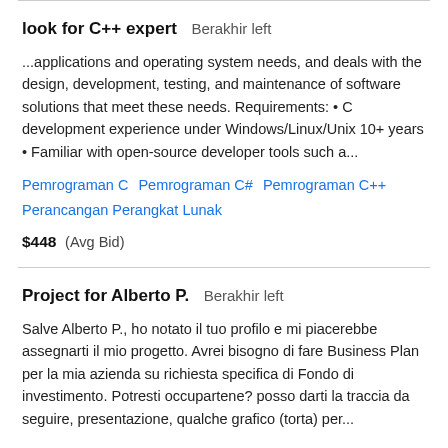look for C++ expert   Berakhir left
...applications and operating system needs, and deals with the design, development, testing, and maintenance of software solutions that meet these needs. Requirements: • C development experience under Windows/Linux/Unix 10+ years • Familiar with open-source developer tools such a...
Pemrograman C   Pemrograman C#   Pemrograman C++   Perancangan Perangkat Lunak
$448   (Avg Bid)
Project for Alberto P.   Berakhir left
Salve Alberto P., ho notato il tuo profilo e mi piacerebbe assegnarti il mio progetto. Avrei bisogno di fare Business Plan per la mia azienda su richiesta specifica di Fondo di investimento. Potresti occupartene? posso darti la traccia da seguire, presentazione, qualche grafico (torta) per...